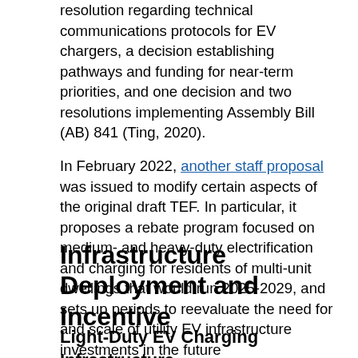resolution regarding technical communications protocols for EV chargers, a decision establishing pathways and funding for near-term priorities, and one decision and two resolutions implementing Assembly Bill (AB) 841 (Ting, 2020).
In February 2022, another staff proposal was issued to modify certain aspects of the original draft TEF. In particular, it proposes a rebate program focused on medium- and heavy-duty electrification and charging for residents of multi-unit dwellings that would run 2025-2029, and sets up periods to reevaluate the need for and scale of utility EV infrastructure investments in the future
Infrastructure Deployment and Incentive
Light-Duty EV Charging Infrastructure